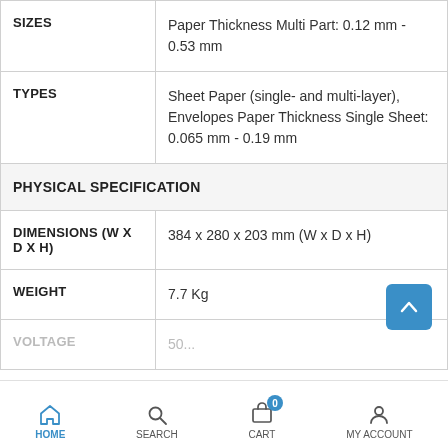| Attribute | Value |
| --- | --- |
| SIZES | Paper Thickness Multi Part: 0.12 mm - 0.53 mm |
| TYPES | Sheet Paper (single- and multi-layer), Envelopes Paper Thickness Single Sheet: 0.065 mm - 0.19 mm |
| PHYSICAL SPECIFICATION |  |
| DIMENSIONS (W X D X H) | 384 x 280 x 203 mm (W x D x H) |
| WEIGHT | 7.7 Kg |
| VOLTAGE | 50... |
HOME  SEARCH  CART  MY ACCOUNT